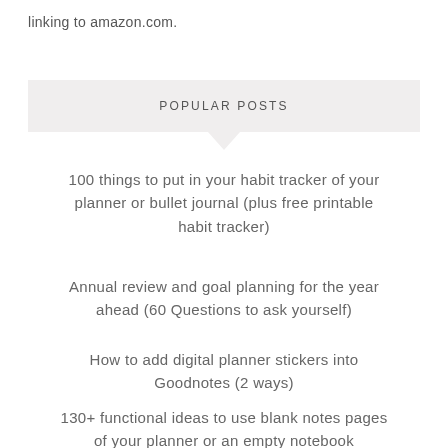linking to amazon.com.
POPULAR POSTS
100 things to put in your habit tracker of your planner or bullet journal (plus free printable habit tracker)
Annual review and goal planning for the year ahead (60 Questions to ask yourself)
How to add digital planner stickers into Goodnotes (2 ways)
130+ functional ideas to use blank notes pages of your planner or an empty notebook